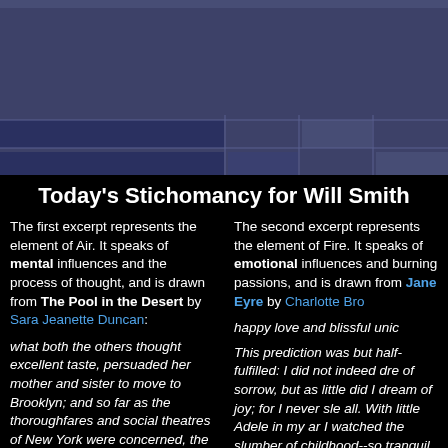[Figure (other): Header graphic with dark blue/slate grid pattern background, decorative header banner for stichomancy website]
Today's Stichomancy for Will Smith
The first excerpt represents the element of Air. It speaks of mental influences and the process of thought, and is drawn from The Pool in the Desert by Sara Jeanette Duncan:
The second excerpt represents the element of Fire. It speaks of emotional influences and burning passions, and is drawn from Jane Eyre by Charlotte Brontë:
what both the others thought excellent taste, persuaded her mother and sister to move to Brooklyn; and so far as the thoroughfares and social theatres of New York were concerned, the city over the
happy love and blissful union
This prediction was but half-fulfilled: I did not indeed dream of sorrow, but as little did I dream of joy; for I never slept at all. With little Adele in my arms, I watched the slumber of childhood--so tranquil, so